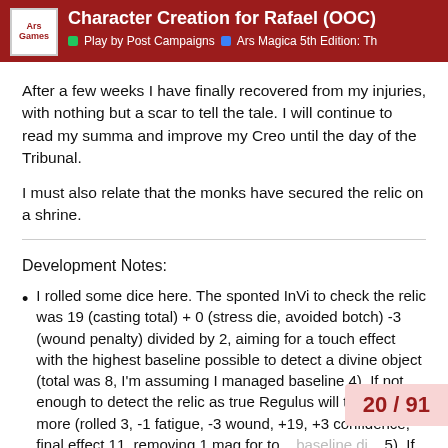Character Creation for Rafael (OOC) | Play by Post Campaigns | Ars Magica 5th Edition: Th
After a few weeks I have finally recovered from my injuries, with nothing but a scar to tell the tale. I will continue to read my summa and improve my Creo until the day of the Tribunal.
I must also relate that the monks have secured the relic on a shrine.
Development Notes:
I rolled some dice here. The sponted InVi to check the relic was 19 (casting total) + 0 (stress die, avoided botch) -3 (wound penalty) divided by 2, aiming for a touch effect with the highest baseline possible to detect a divine object (total was 8, I'm assuming I managed baseline 4). If not enough to detect the relic as true Regulus will try once more (rolled 3, -1 fatigue, -3 wound, +19, +3 confidence, final effect 11, removing 1 mag for to... baseline di... 5). If that still isn't enough I'll rewrite... capable of making sure at the mome...
20 / 91